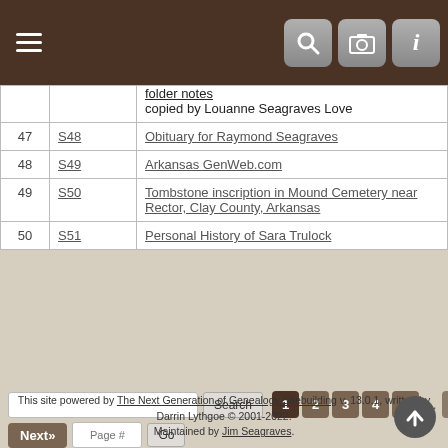Navigation bar with menu, search, camera, and info icons
| # | Code | Source |
| --- | --- | --- |
|  |  | folder notes
copied by Louanne Seagraves Love |
| 47 | S48 | Obituary for Raymond Seagraves |
| 48 | S49 | Arkansas GenWeb.com |
| 49 | S50 | Tombstone inscription in Mound Cemetery near Rector, Clay County, Arkansas |
| 50 | S51 | Personal History of Sara Trulock |
Search | Next» | Page # Go | 1 2 3 4 5 ... 41»
Switch to standard site
This site powered by The Next Generation of Genealogy Sitebuilding v. 13.0.1, written by Darrin Lythgoe © 2001-2022. Maintained by Jim Seagraves.